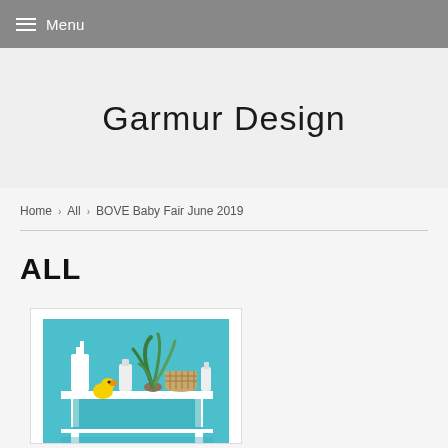Menu
Garmur Design
Home › All › BOVE Baby Fair June 2019
ALL
[Figure (photo): Photo of baby products on a white table against a teal/turquoise background, including bottles, a rubber duck, an aloe plant, and a basket]